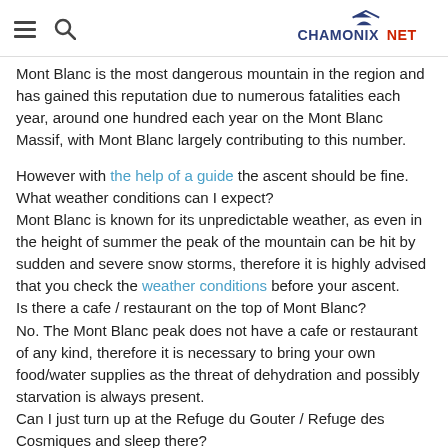ChamonixNet (logo with hamburger and search icons)
Mont Blanc is the most dangerous mountain in the region and has gained this reputation due to numerous fatalities each year, around one hundred each year on the Mont Blanc Massif, with Mont Blanc largely contributing to this number.
However with the help of a guide the ascent should be fine.
What weather conditions can I expect?
Mont Blanc is known for its unpredictable weather, as even in the height of summer the peak of the mountain can be hit by sudden and severe snow storms, therefore it is highly advised that you check the weather conditions before your ascent.
Is there a cafe / restaurant on the top of Mont Blanc?
No. The Mont Blanc peak does not have a cafe or restaurant of any kind, therefore it is necessary to bring your own food/water supplies as the threat of dehydration and possibly starvation is always present.
Can I just turn up at the Refuge du Gouter / Refuge des Cosmiques and sleep there?